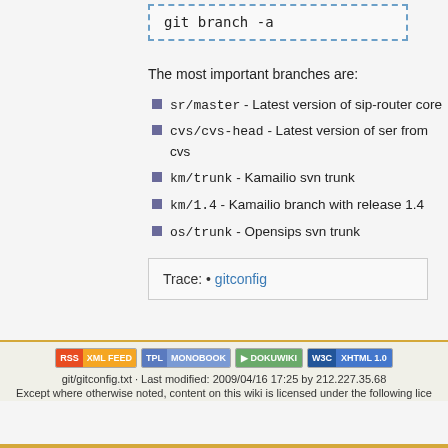The most important branches are:
sr/master - Latest version of sip-router core
cvs/cvs-head - Latest version of ser from cvs
km/trunk - Kamailio svn trunk
km/1.4 - Kamailio branch with release 1.4
os/trunk - Opensips svn trunk
Trace: • gitconfig
git/gitconfig.txt · Last modified: 2009/04/16 17:25 by 212.227.35.68
Except where otherwise noted, content on this wiki is licensed under the following lice